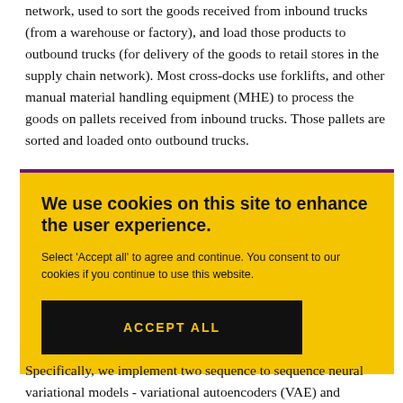network, used to sort the goods received from inbound trucks (from a warehouse or factory), and load those products to outbound trucks (for delivery of the goods to retail stores in the supply chain network). Most cross-docks use forklifts, and other manual material handling equipment (MHE) to process the goods on pallets received from inbound trucks. Those pallets are sorted and loaded onto outbound trucks.
[Figure (screenshot): Cookie consent overlay with yellow background. Title: 'We use cookies on this site to enhance the user experience.' Body: 'Select Accept all to agree and continue. You consent to our cookies if you continue to use this website.' Black button with yellow text: 'ACCEPT ALL'.]
Specifically, we implement two sequence to sequence neural variational models - variational autoencoders (VAE) and